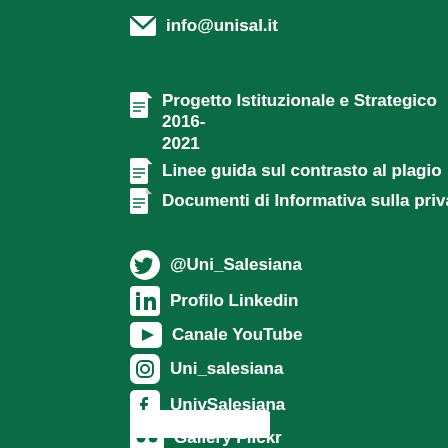info@unisal.it
Progetto Istituzionale e Strategico 2016-2021
Linee guida sul contrasto al plagio
Documenti di Informativa sulla privacy
@Uni_Salesiana
Profilo Linkedin
Canale YouTube
Uni_salesiana
UnivSalesiana
Gallery Flickr